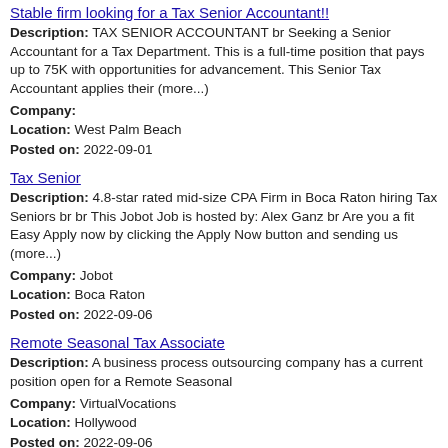Stable firm looking for a Tax Senior Accountant!!
Description: TAX SENIOR ACCOUNTANT br Seeking a Senior Accountant for a Tax Department. This is a full-time position that pays up to 75K with opportunities for advancement. This Senior Tax Accountant applies their (more...)
Company:
Location: West Palm Beach
Posted on: 2022-09-01
Tax Senior
Description: 4.8-star rated mid-size CPA Firm in Boca Raton hiring Tax Seniors br br This Jobot Job is hosted by: Alex Ganz br Are you a fit Easy Apply now by clicking the Apply Now button and sending us (more...)
Company: Jobot
Location: Boca Raton
Posted on: 2022-09-06
Remote Seasonal Tax Associate
Description: A business process outsourcing company has a current position open for a Remote Seasonal
Company: VirtualVocations
Location: Hollywood
Posted on: 2022-09-06
Remote Principal Value Added Tax Specialist
Description: An agile global aerospace and defense technology